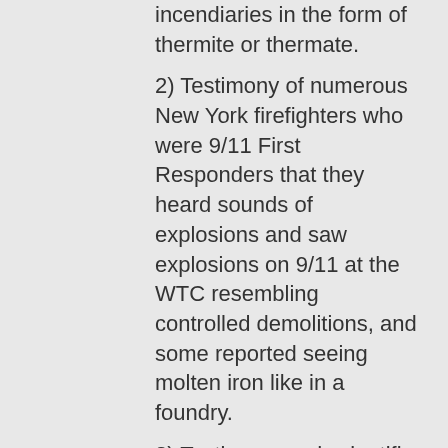incendiaries in the form of thermite or thermate.
2) Testimony of numerous New York firefighters who were 9/11 First Responders that they heard sounds of explosions and saw explosions on 9/11 at the WTC resembling controlled demolitions, and some reported seeing molten iron like in a foundry.
3) Testimony and scientific analysis by numerous architects, engineers, physicists, and chemists which demonstrates